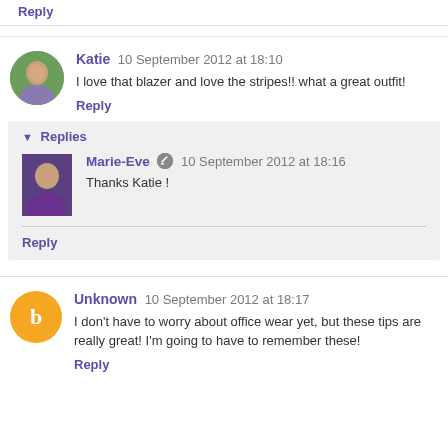Reply
Katie  10 September 2012 at 18:10
I love that blazer and love the stripes!! what a great outfit!
Reply
Replies
Marie-Eve  10 September 2012 at 18:16
Thanks Katie !
Reply
Unknown  10 September 2012 at 18:17
I don't have to worry about office wear yet, but these tips are really great! I'm going to have to remember these!
Reply